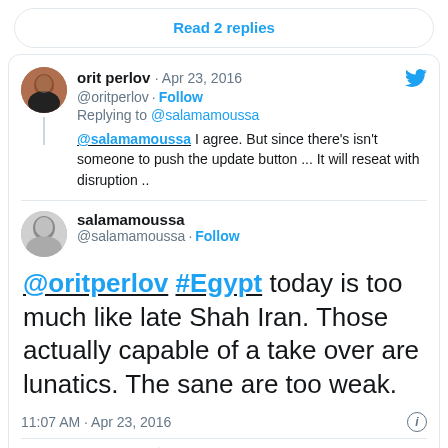Read 2 replies
orit perlov · Apr 23, 2016
@oritperlov · Follow
Replying to @salamamoussa
@salamamoussa I agree. But since there's isn't someone to push the update button ... It will reseat with disruption ..
salamamoussa
@salamamoussa · Follow
@oritperlov #Egypt today is too much like late Shah Iran. Those actually capable of a take over are lunatics. The sane are too weak.
11:07 AM · Apr 23, 2016
2  Reply  Copy link